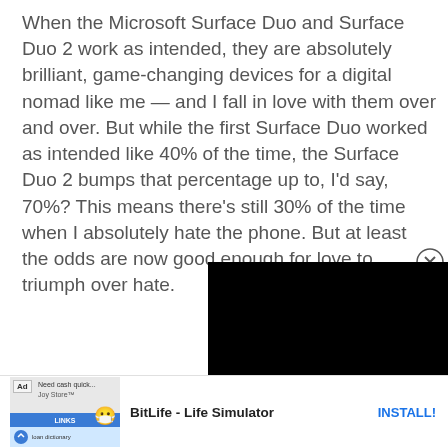When the Microsoft Surface Duo and Surface Duo 2 work as intended, they are absolutely brilliant, game-changing devices for a digital nomad like me — and I fall in love with them over and over. But while the first Surface Duo worked as intended like 40% of the time, the Surface Duo 2 bumps that percentage up to, I'd say, 70%? This means there's still 30% of the time when I absolutely hate the phone. But at least the odds are now good enough for love to triumph over hate.
[Figure (screenshot): Black video player box with a circular close button (X) in top right corner]
[Figure (screenshot): Advertisement bar at bottom showing BitLife - Life Simulator app ad with emoji graphic, Ad label, blue bar, and INSTALL! button]